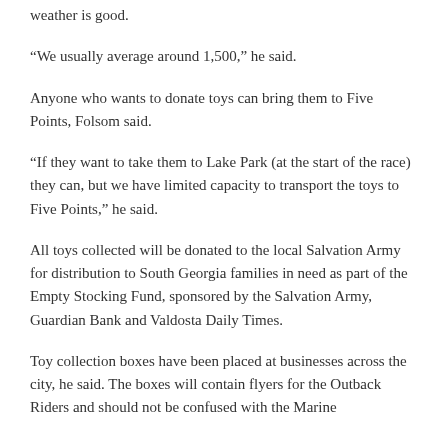weather is good.
“We usually average around 1,500,” he said.
Anyone who wants to donate toys can bring them to Five Points, Folsom said.
“If they want to take them to Lake Park (at the start of the race) they can, but we have limited capacity to transport the toys to Five Points,” he said.
All toys collected will be donated to the local Salvation Army for distribution to South Georgia families in need as part of the Empty Stocking Fund, sponsored by the Salvation Army, Guardian Bank and Valdosta Daily Times.
Toy collection boxes have been placed at businesses across the city, he said. The boxes will contain flyers for the Outback Riders and should not be confused with the Marine